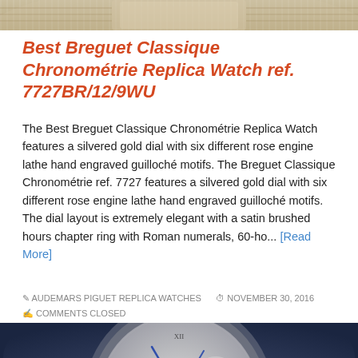[Figure (photo): Partial top view of a luxury watch with brown leather strap, cropped at the top of the page]
Best Breguet Classique Chronométrie Replica Watch ref. 7727BR/12/9WU
The Best Breguet Classique Chronométrie Replica Watch features a silvered gold dial with six different rose engine lathe hand engraved guilloché motifs. The Breguet Classique Chronométrie ref. 7727 features a silvered gold dial with six different rose engine lathe hand engraved guilloché motifs. The dial layout is extremely elegant with a satin brushed hours chapter ring with Roman numerals, 60-ho... [Read More]
AUDEMARS PIGUET REPLICA WATCHES   NOVEMBER 30, 2016
COMMENTS CLOSED
[Figure (photo): Close-up photo of a Breguet Classique watch with silvered guilloché dial, blue hands, Roman numerals, and serial number No. 3198, on dark blue background]